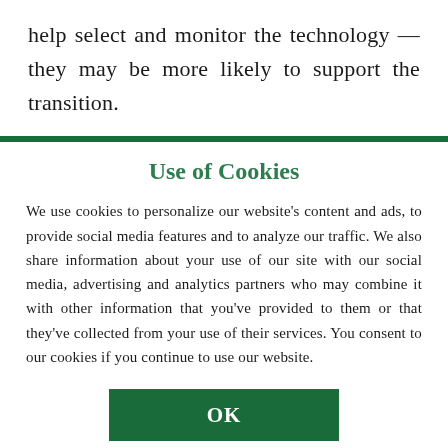help select and monitor the technology — they may be more likely to support the transition.
Use of Cookies
We use cookies to personalize our website's content and ads, to provide social media features and to analyze our traffic. We also share information about your use of our site with our social media, advertising and analytics partners who may combine it with other information that you've provided to them or that they've collected from your use of their services. You consent to our cookies if you continue to use our website.
OK